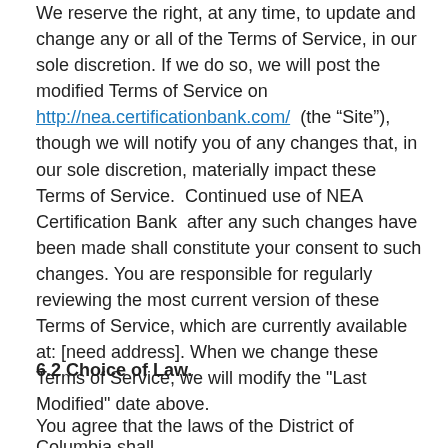We reserve the right, at any time, to update and change any or all of the Terms of Service, in our sole discretion. If we do so, we will post the modified Terms of Service on http://nea.certificationbank.com/  (the “Site”), though we will notify you of any changes that, in our sole discretion, materially impact these Terms of Service.  Continued use of NEA Certification Bank  after any such changes have been made shall constitute your consent to such changes. You are responsible for regularly reviewing the most current version of these Terms of Service, which are currently available at: [need address]. When we change these Terms of Service, we will modify the "Last Modified" date above.
6.2 Choice of Law.
You agree that the laws of the District of Columbia shall